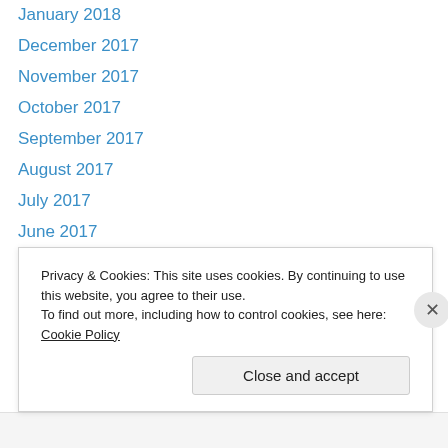January 2018
December 2017
November 2017
October 2017
September 2017
August 2017
July 2017
June 2017
May 2017
March 2017
February 2017
January 2017
December 2016
Privacy & Cookies: This site uses cookies. By continuing to use this website, you agree to their use.
To find out more, including how to control cookies, see here: Cookie Policy
Close and accept